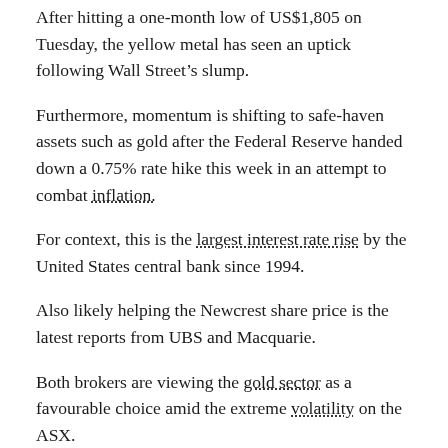After hitting a one-month low of US$1,805 on Tuesday, the yellow metal has seen an uptick following Wall Streetâ€™s slump.
Furthermore, momentum is shifting to safe-haven assets such as gold after the Federal Reserve handed down a 0.75% rate hike this week in an attempt to combat inflation.
For context, this is theÂ largest interest rate riseÂ by the United States central bank since 1994.
Also likely helping the Newcrest share price is the latest reports from UBS and Macquarie.
Both brokers are viewing the gold sector as a favourable choice amid the extreme volatility on the ASX.
According toÂ The Australian, UBS upgraded Newcrest